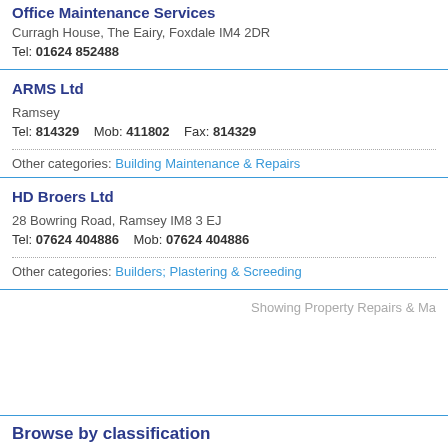Office Maintenance Services
Curragh House, The Eairy, Foxdale IM4 2DR
Tel: 01624 852488
ARMS Ltd
Ramsey
Tel: 814329    Mob: 411802    Fax: 814329
Other categories: Building Maintenance & Repairs
HD Broers Ltd
28 Bowring Road, Ramsey IM8 3 EJ
Tel: 07624 404886    Mob: 07624 404886
Other categories: Builders; Plastering & Screeding
Showing Property Repairs & Ma
Browse by classification